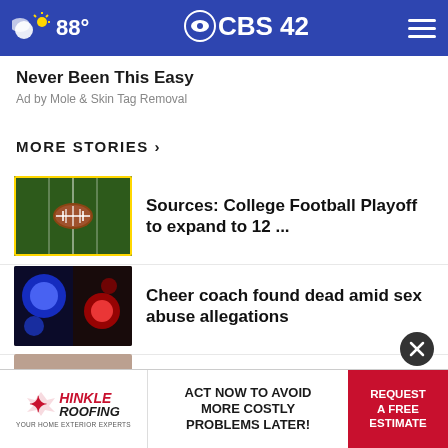88° CBS 42
Never Been This Easy
Ad by Mole & Skin Tag Removal
MORE STORIES ›
Sources: College Football Playoff to expand to 12 ...
Cheer coach found dead amid sex abuse allegations
Birmingham hosting drive to help those in Mississippi ...
Pinson Chucky has branch removed
[Figure (screenshot): Hinkle Roofing advertisement banner at bottom of page]